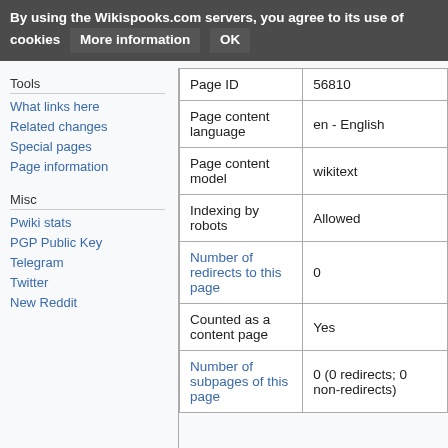By using the Wikispooks.com servers, you agree to its use of cookies   More information   OK
Tools
What links here
Related changes
Special pages
Page information
Misc
Pwiki stats
PGP Public Key
Telegram
Twitter
New Reddit
|  |  |
| --- | --- |
| Page ID | 56810 |
| Page content language | en - English |
| Page content model | wikitext |
| Indexing by robots | Allowed |
| Number of redirects to this page | 0 |
| Counted as a content page | Yes |
| Number of subpages of this page | 0 (0 redirects; 0 non-redirects) |